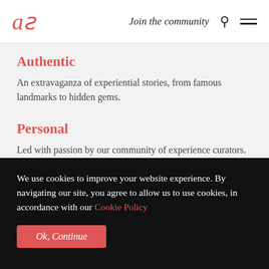aS   Join the community
Authentic
An extravaganza of experiential stories, from famous landmarks to hidden gems.
Personal
Led with passion by our community of experience curators.
Immersive
Connecting travellers to the people, traditions, and the local culture
We use cookies to improve your website experience. By navigating our site, you agree to allow us to use cookies, in accordance with our Cookie Policy
Ok, Continue